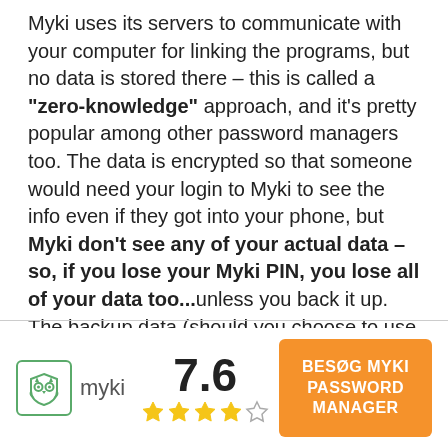Myki uses its servers to communicate with your computer for linking the programs, but no data is stored there – this is called a "zero-knowledge" approach, and it's pretty popular among other password managers too. The data is encrypted so that someone would need your login to Myki to see the info even if they got into your phone, but Myki don't see any of your actual data – so, if you lose your Myki PIN, you lose all of your data too...unless you back it up. The backup data (should you choose to use it) is also encrypted in an encrypted file on your device that only the Myki app can open.
[Figure (logo): Myki password manager logo with owl icon, score 7.6 with 4 out of 5 stars, and orange button 'BESØG MYKI PASSWORD MANAGER']